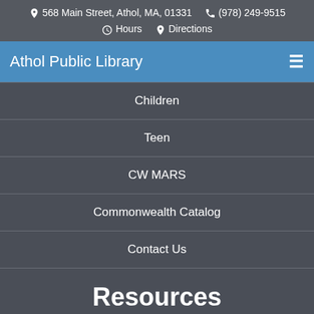568 Main Street, Athol, MA, 01331  (978) 249-9515  Hours  Directions
Athol Public Library
Children
Teen
CW MARS
Commonwealth Catalog
Contact Us
Resources
Services